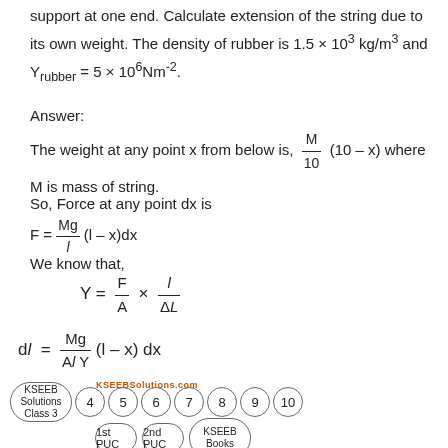support at one end. Calculate extension of the string due to its own weight. The density of rubber is 1.5 × 10³ kg/m³ and Y_rubber = 5 × 10⁶Nm⁻².
Answer:
The weight at any point x from below is, M/10 (10 – x) where M is mass of string.
So, Force at any point dx is
We know that,
[Figure (other): KSEEB Solutions navigation bar with page circles: KSEEB Solutions Class 3, 4, 5, 6, 7, 8, 9, 10, 1st PUC, 2nd PUC, KSEEB Books]